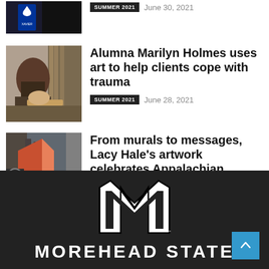[Figure (photo): Partial view of a dark image with a white bird/eagle logo on blue background (Xavier or similar institution)]
SUMMER 2021   June 30, 2021
[Figure (photo): Woman sitting at a table working on art, surrounded by art supplies and shelves]
Alumna Marilyn Holmes uses art to help clients cope with trauma
SUMMER 2021   June 28, 2021
[Figure (photo): Person painting a large colorful mural on a wall featuring Appalachian-themed imagery]
From murals to messages, Lacy Hale's artwork celebrates Appalachian beauty and...
SUMMER 2021   June 28, 2021
MOREHEAD STATE